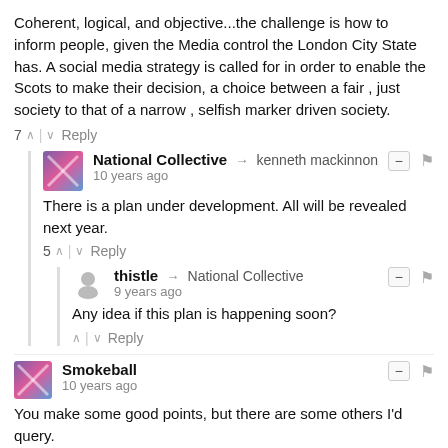Coherent, logical, and objective...the challenge is how to inform people, given the Media control the London City State has. A social media strategy is called for in order to enable the Scots to make their decision, a choice between a fair , just society to that of a narrow , selfish marker driven society.
7 ^ | v Reply
National Collective → kenneth mackinnon
10 years ago
There is a plan under development. All will be revealed next year.
5 ^ | v Reply
thistle → National Collective
9 years ago
Any idea if this plan is happening soon?
^ | v Reply
Smokeball
10 years ago
You make some good points, but there are some others I'd query.